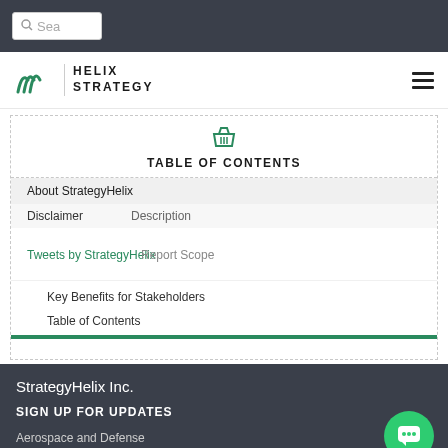Sea
[Figure (logo): Helix Strategy logo with green stylized W mark and text HELIX STRATEGY]
TABLE OF CONTENTS
About StrategyHelix
Description
Disclaimer
Report Scope
Tweets by StrategyHelix
Key Benefits for Stakeholders
Table of Contents
StrategyHelix Inc.
SIGN UP FOR UPDATES
Aerospace and Defense
Agriculture